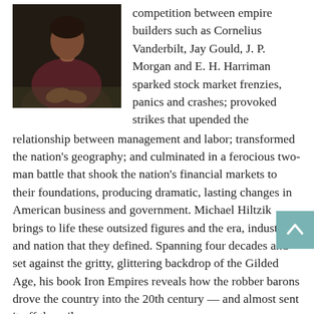[Figure (photo): A person in a dark red/maroon top seated with hands folded, photographed in dim lighting against a textured background.]
competition between empire builders such as Cornelius Vanderbilt, Jay Gould, J. P. Morgan and E. H. Harriman sparked stock market frenzies, panics and crashes; provoked strikes that upended the relationship between management and labor; transformed the nation's geography; and culminated in a ferocious two-man battle that shook the nation's financial markets to their foundations, producing dramatic, lasting changes in American business and government. Michael Hiltzik brings to life these outsized figures and the era, industry and nation that they defined. Spanning four decades and set against the gritty, glittering backdrop of the Gilded Age, his book Iron Empires reveals how the robber barons drove the country into the 20th century — and almost sent it off the rails.
Click here to access the lecture on our youtube channel.